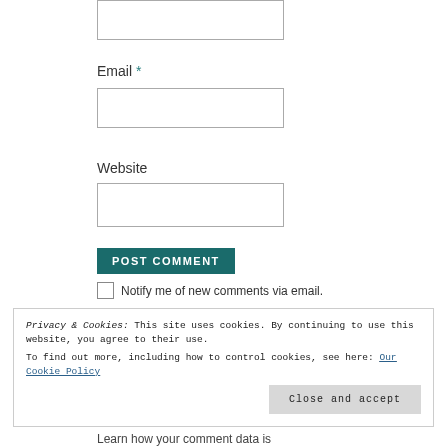[input box - top, unlabeled]
Email *
[input box - email]
Website
[input box - website]
POST COMMENT
Notify me of new comments via email.
Privacy & Cookies: This site uses cookies. By continuing to use this website, you agree to their use.
To find out more, including how to control cookies, see here: Our Cookie Policy
Close and accept
Learn how your comment data is